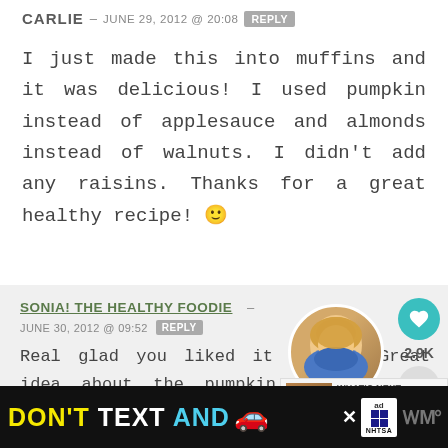CARLIE – JUNE 29, 2012 @ 20:08  REPLY
I just made this into muffins and it was delicious! I used pumpkin instead of applesauce and almonds instead of walnuts. I didn't add any raisins. Thanks for a great healthy recipe! 🙂
SONIA! THE HEALTHY FOODIE – JUNE 30, 2012 @ 09:52  REPLY
Real glad you liked it Carlie! Great idea about the pumpkin! I will definitely have to try that! Thank YOU for taking the time to give me such great feedback! I
[Figure (photo): Profile photo of Sonia the Healthy Foodie - woman with blonde hair]
[Figure (infographic): WHAT'S NEXT: Paleo Banana Bread – The...]
[Figure (infographic): Ad banner: DON'T TEXT AND 🚗 with NHTSA logo and close button]